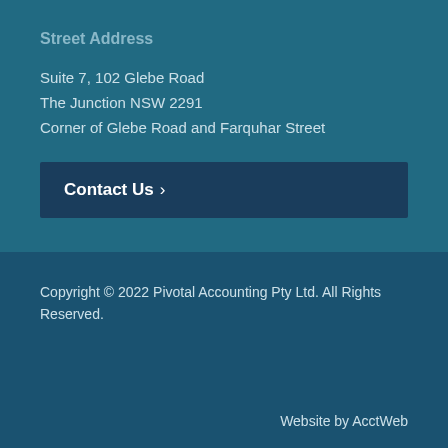Street Address
Suite 7, 102 Glebe Road
The Junction NSW 2291
Corner of Glebe Road and Farquhar Street
Contact Us ›
Copyright © 2022 Pivotal Accounting Pty Ltd. All Rights Reserved.
Website by AcctWeb